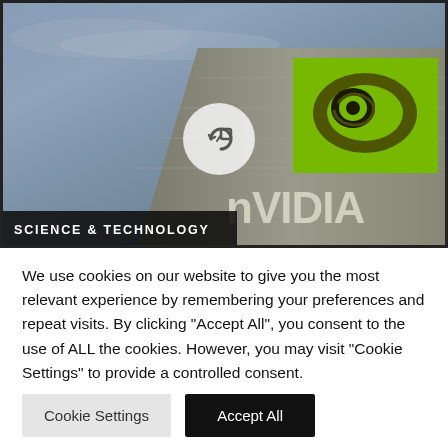[Figure (photo): Photograph of NVIDIA building exterior with green NVIDIA logo on corner of building against a cloudy blue-grey sky. A circular share icon is overlaid in the center. A dark banner at the bottom left reads 'SCIENCE & TECHNOLOGY'.]
We use cookies on our website to give you the most relevant experience by remembering your preferences and repeat visits. By clicking "Accept All", you consent to the use of ALL the cookies. However, you may visit "Cookie Settings" to provide a controlled consent.
Cookie Settings
Accept All